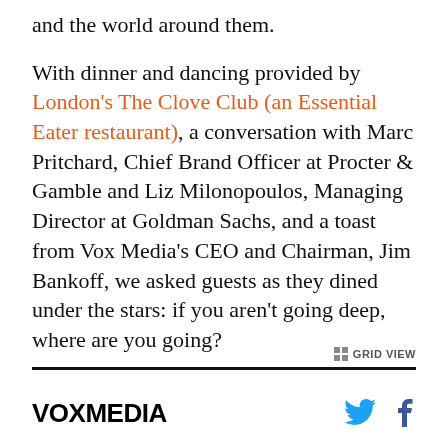and the world around them.

With dinner and dancing provided by London's The Clove Club (an Essential Eater restaurant), a conversation with Marc Pritchard, Chief Brand Officer at Procter & Gamble and Liz Milonopoulos, Managing Director at Goldman Sachs, and a toast from Vox Media's CEO and Chairman, Jim Bankoff, we asked guests as they dined under the stars: if you aren't going deep, where are you going?
VOXMEDIA